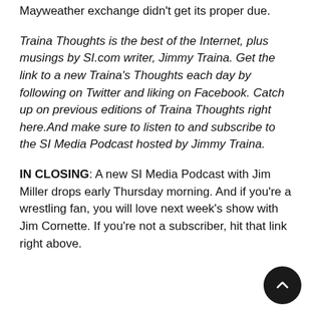Mayweather exchange didn't get its proper due.
Traina Thoughts is the best of the Internet, plus musings by SI.com writer, Jimmy Traina. Get the link to a new Traina's Thoughts each day by following on Twitter and liking on Facebook. Catch up on previous editions of Traina Thoughts right here.And make sure to listen to and subscribe to the SI Media Podcast hosted by Jimmy Traina.
IN CLOSING: A new SI Media Podcast with Jim Miller drops early Thursday morning. And if you're a wrestling fan, you will love next week's show with Jim Cornette. If you're not a subscriber, hit that link right above.